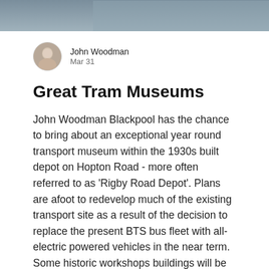[Figure (photo): Partial photo banner at top of page, showing a blurred/cropped image in grey-blue tones]
John Woodman
Mar 31
Great Tram Museums
John Woodman Blackpool has the chance to bring about an exceptional year round transport museum within the 1930s built depot on Hopton Road - more often referred to as 'Rigby Road Depot'. Plans are afoot to redevelop much of the existing transport site as a result of the decision to replace the present BTS bus fleet with all-electric powered vehicles in the near term. Some historic workshops buildings will be